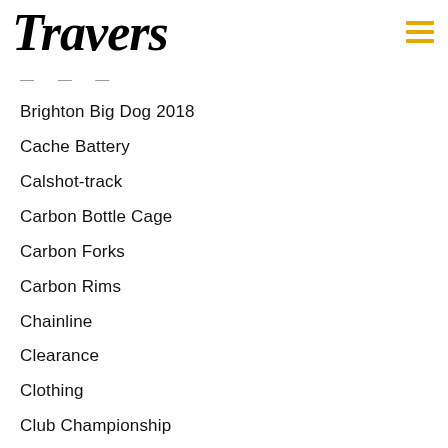[Figure (logo): Travers cursive script logo in black]
Brighton Big Dog 2018
Cache Battery
Calshot-track
Carbon Bottle Cage
Carbon Forks
Carbon Rims
Chainline
Clearance
Clothing
Club Championship
Club Champs
Complete Bike
Custom Wheels
CX
Cx Elite